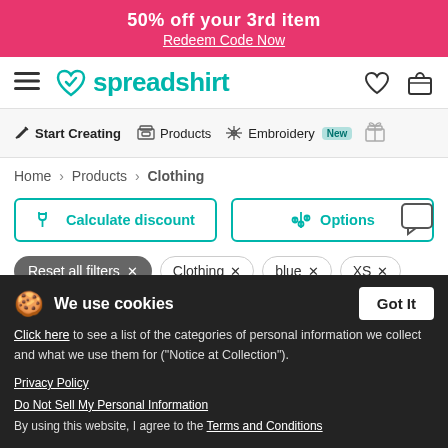50% off your 3rd item
Redeem Code Now
[Figure (logo): Spreadshirt logo with teal heart icon and teal wordmark, hamburger menu left, heart and cart icons right]
[Figure (screenshot): Navigation menu: Start Creating, Products, Embroidery (New badge), gift icon]
Home > Products > Clothing
Calculate discount | Options
Reset all filters × | Clothing × | blue × | XS ×
Sort by: Popular products | New entries | Price
[Figure (screenshot): Cookie consent overlay: 'We use cookies' with Got It button, click here link, privacy policy, do not sell, terms and conditions]
By using this website, I agree to the Terms and Conditions